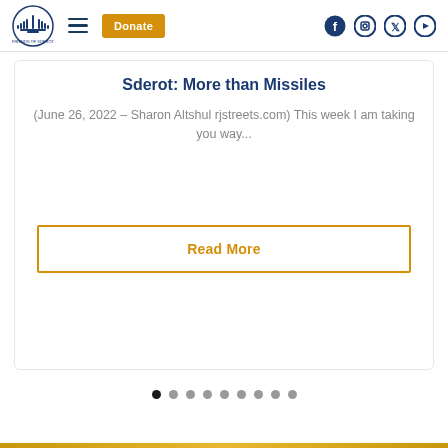Navigation header with logo, hamburger menu, Donate button, and social icons (Facebook, Instagram, Twitter, YouTube)
Sderot: More than Missiles
(June 26, 2022 – Sharon Altshul rjstreets.com) This week I am taking you way...
Read More
[Figure (other): Carousel pagination dots, 9 dots total, first dot filled/active]
Gold decorative bar at page bottom